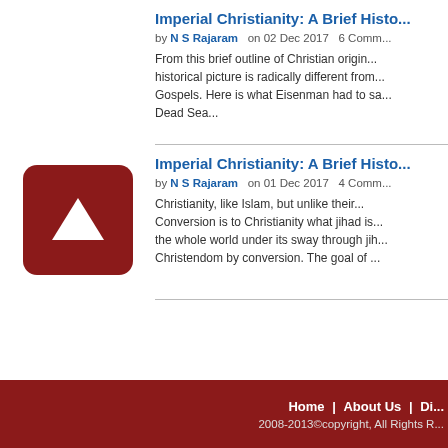[Figure (other): Dark red square button with white upward-pointing triangle/arrow icon]
Imperial Christianity: A Brief Histo...
by N S Rajaram   on 02 Dec 2017   6 Comm...
From this brief outline of Christian origin... historical picture is radically different from... Gospels. Here is what Eisenman had to sa... Dead Sea...
Imperial Christianity: A Brief Histo...
by N S Rajaram   on 01 Dec 2017   4 Comm...
Christianity, like Islam, but unlike their... Conversion is to Christianity what jihad is... the whole world under its sway through jih... Christendom by conversion. The goal of ...
Home | About Us | Di... 2008-2013©copyright, All Rights R...